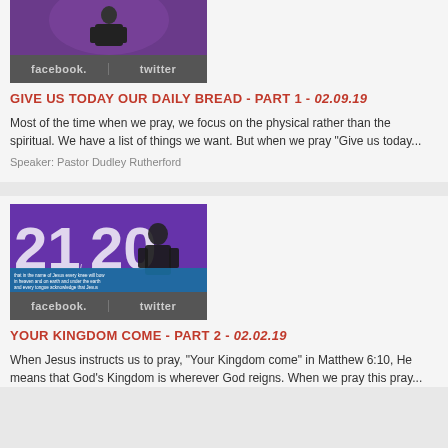[Figure (photo): Thumbnail image of a speaker on a purple background with Facebook and Twitter social sharing buttons below]
GIVE US TODAY OUR DAILY BREAD - PART 1 - 02.09.19
Most of the time when we pray, we focus on the physical rather than the spiritual. We have a list of things we want. But when we pray "Give us today...
Speaker: Pastor Dudley Rutherford
[Figure (photo): Thumbnail image showing large numbers 21/20 on purple background with a speaker, blue text overlay, and Facebook and Twitter social sharing buttons below]
YOUR KINGDOM COME - PART 2 - 02.02.19
When Jesus instructs us to pray, "Your Kingdom come" in Matthew 6:10, He means that God's Kingdom is wherever God reigns. When we pray this pray...